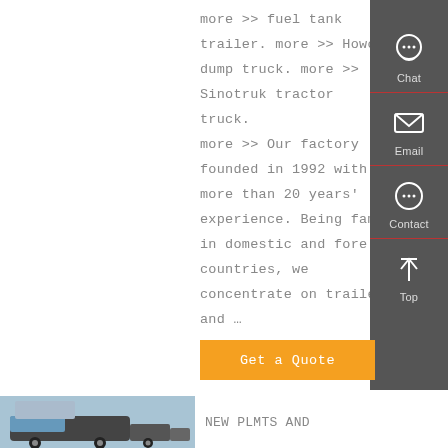more >> fuel tank trailer. more >> Howo dump truck. more >> Sinotruk tractor truck. more >> Our factory founded in 1992 with more than 20 years' experience. Being famous in domestic and foreign countries, we concentrate on trailer and …
[Figure (infographic): Sidebar with chat, email, contact, and top icons on a dark grey background]
Get a Quote
[Figure (photo): Truck photo at the bottom left of the page]
NEW PLMTS AND